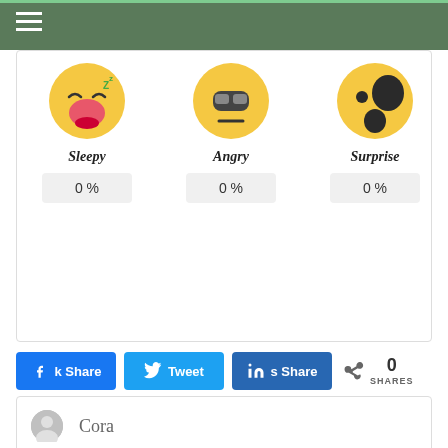Navigation header with hamburger menu
[Figure (illustration): Sleepy emoji face - yellow circle with open mouth and closed eyes with Z's]
Sleepy
0 %
[Figure (illustration): Angry emoji face - yellow circle with flat line mouth and sunglasses]
Angry
0 %
[Figure (illustration): Surprise emoji face - yellow circle with open mouth (dark oval)]
Surprise
0 %
k Share
Tweet
s Share
0 SHARES
[Figure (illustration): Gray circular avatar/profile placeholder icon]
Cora